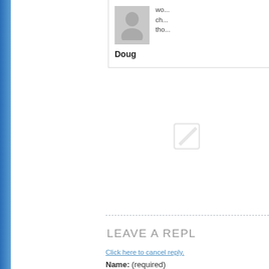Doug
wo... ch... tho...
LEAVE A REPLY
Click here to cancel reply.
Name: (required)
E-mail: (will not be published)
Website: